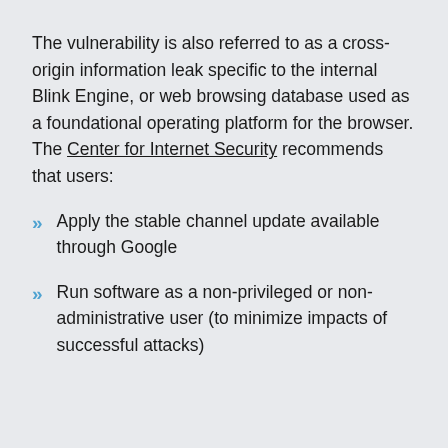The vulnerability is also referred to as a cross-origin information leak specific to the internal Blink Engine, or web browsing database used as a foundational operating platform for the browser. The Center for Internet Security recommends that users:
Apply the stable channel update available through Google
Run software as a non-privileged or non-administrative user (to minimize impacts of successful attacks)